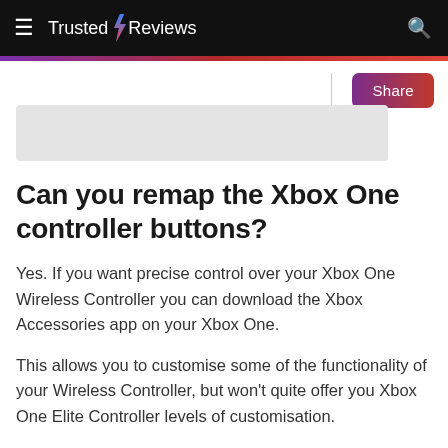Trusted Reviews
[Figure (screenshot): Partially visible image placeholder at top of article]
Can you remap the Xbox One controller buttons?
Yes. If you want precise control over your Xbox One Wireless Controller you can download the Xbox Accessories app on your Xbox One.
This allows you to customise some of the functionality of your Wireless Controller, but won't quite offer you Xbox One Elite Controller levels of customisation.
However, the Xbox Accessories app will let you do the